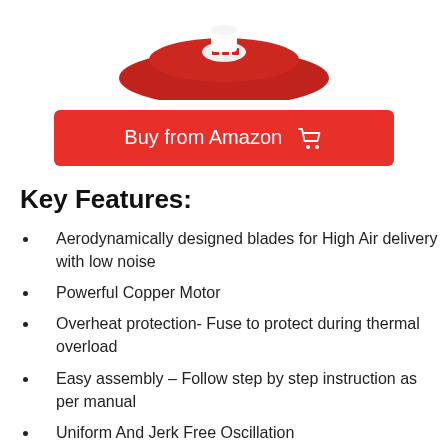[Figure (photo): Partial view of a red fan base from above, with a small white circular component visible in the center on a white background]
Buy from Amazon 🛒
Key Features:
Aerodynamically designed blades for High Air delivery with low noise
Powerful Copper Motor
Overheat protection- Fuse to protect during thermal overload
Easy assembly – Follow step by step instruction as per manual
Uniform And Jerk Free Oscillation
Air Delivery 67 Cubic meters per minute